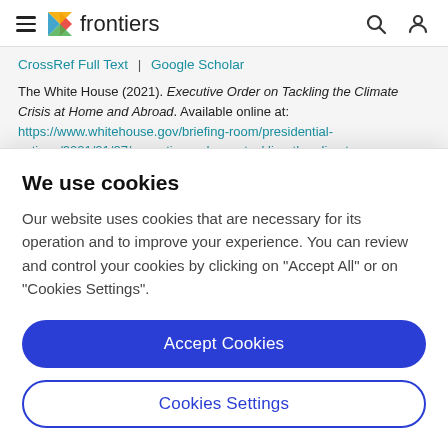frontiers
CrossRef Full Text | Google Scholar
The White House (2021). Executive Order on Tackling the Climate Crisis at Home and Abroad. Available online at: https://www.whitehouse.gov/briefing-room/presidential-actions/2021/01/27/executive-order-on-tackling-the-climate
We use cookies
Our website uses cookies that are necessary for its operation and to improve your experience. You can review and control your cookies by clicking on "Accept All" or on "Cookies Settings".
Accept Cookies
Cookies Settings